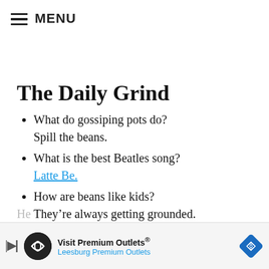☰ MENU
The Daily Grind
What do gossiping pots do?
Spill the beans.
What is the best Beatles song?
Latte Be.
How are beans like kids?
They're always getting grounded.
How does an IT guy drink coffee?
[Figure (other): Advertisement banner for Visit Premium Outlets® Leesburg Premium Outlets]